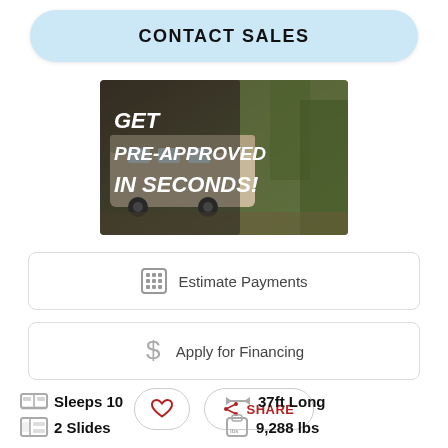CONTACT SALES
[Figure (photo): RV/travel trailer parked outdoors with trees in background, overlaid with text 'GET PRE-APPROVED IN SECONDS!']
Estimate Payments
Apply for Financing
SHARE
Sleeps 10
37ft Long
2 Slides
9,288 lbs